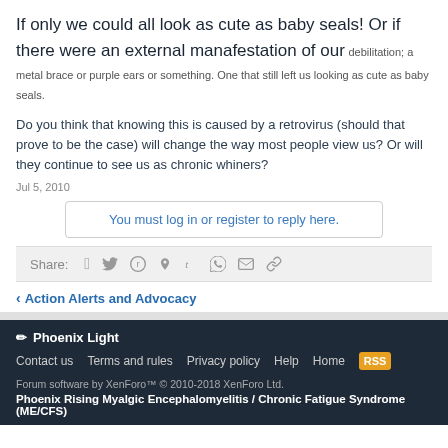If only we could all look as cute as baby seals! Or if there were an external manafestation of our debilitation; a metal brace or purple ears or something. One that still left us looking as cute as baby seals.
Do you think that knowing this is caused by a retrovirus (should that prove to be the case) will change the way most people view us? Or will they continue to see us as chronic whiners?
Jul 5, 2010
You must log in or register to reply here.
Share:
< Action Alerts and Advocacy
Phoenix Light
Contact us  Terms and rules  Privacy policy  Help  Home  [RSS]
Forum software by XenForo™ © 2010-2018 XenForo Ltd.
Phoenix Rising Myalgic Encephalomyelitis / Chronic Fatigue Syndrome (ME/CFS)